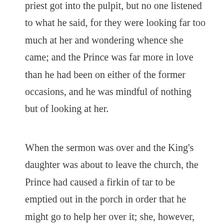priest got into the pulpit, but no one listened to what he said, for they were looking far too much at her and wondering whence she came; and the Prince was far more in love than he had been on either of the former occasions, and he was mindful of nothing but of looking at her.
When the sermon was over and the King's daughter was about to leave the church, the Prince had caused a firkin of tar to be emptied out in the porch in order that he might go to help her over it; she, however, did not trouble herself in the least about the tar, but set her foot down in the middle of it and jumped over it, and thus one of her gold shoes was left sticking in it. When she had seated